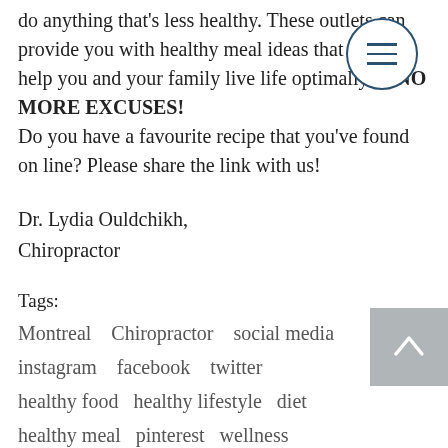…do anything that's less healthy. These outlets can provide you with healthy meal ideas that could help you and your family live life optimally so NO MORE EXCUSES!
Do you have a favourite recipe that you've found on line?  Please share the link with us!
Dr. Lydia Ouldchikh,
Chiropractor
Tags:
Montreal   Chiropractor   social media
instagram   facebook   twitter
healthy food   healthy lifestyle   diet
healthy meal   pinterest   wellness